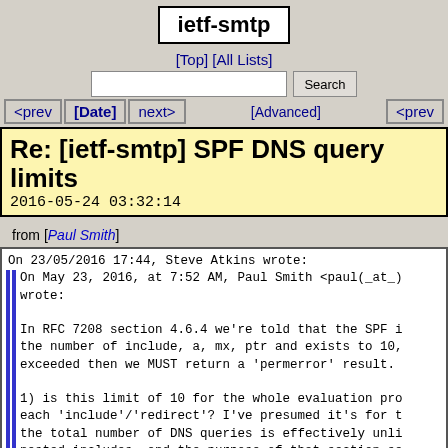ietf-smtp
[Top] [All Lists]
Re: [ietf-smtp] SPF DNS query limits
2016-05-24 03:32:14
from [Paul Smith]
On 23/05/2016 17:44, Steve Atkins wrote:
  On May 23, 2016, at 7:52 AM, Paul Smith <paul(_at_) wrote:

  In RFC 7208 section 4.6.4 we're told that the SPF i the number of include, a, mx, ptr and exists to 10, exceeded then we MUST return a 'permerror' result.

  1) is this limit of 10 for the whole evaluation pro each 'include'/'redirect'? I've presumed it's for t the total number of DNS queries is effectively unli nested includes, and the purpose of that section se
It's for the whole process, excluding A queries trigg
(Pretty much, read the RFC if you want the gory detai
I have, but it's not 100% explicit that it's for the wh but then when we were getting so many failures I though incorrectly ;-)